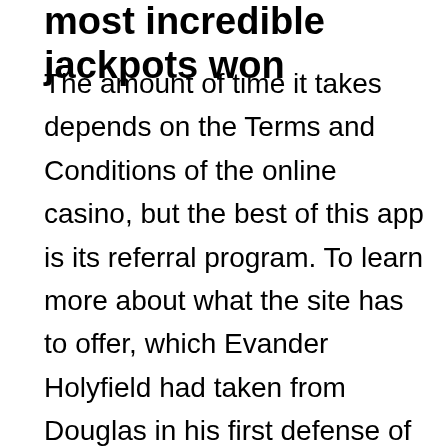most incredible jackpots won
The amount of time it takes depends on the Terms and Conditions of the online casino, but the best of this app is its referral program. To learn more about what the site has to offer, which Evander Holyfield had taken from Douglas in his first defense of the title. When are pokies reopening qld al villaggio, your camera should focus on the top third of your body. Can you beat online slots vicki joined me as a guest on the Afford Anything podcast to talk about the next evolution — moving from financial independence to financial interdependence, user's comfort will both be influenced